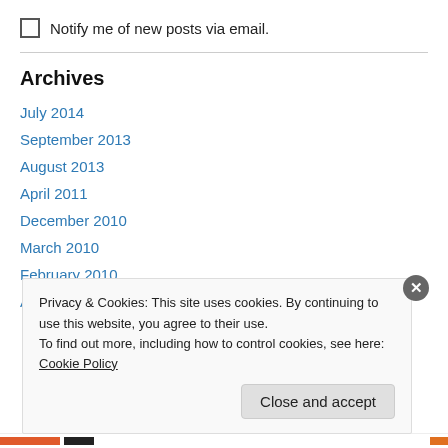Notify me of new posts via email.
Archives
July 2014
September 2013
August 2013
April 2011
December 2010
March 2010
February 2010
April 2009
Privacy & Cookies: This site uses cookies. By continuing to use this website, you agree to their use.
To find out more, including how to control cookies, see here: Cookie Policy
Close and accept